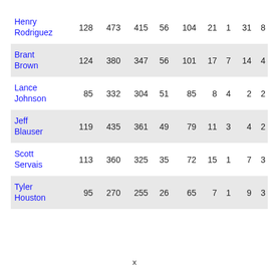| Henry Rodriguez | 128 | 473 | 415 | 56 | 104 | 21 | 1 | 31 | 8 |
| Brant Brown | 124 | 380 | 347 | 56 | 101 | 17 | 7 | 14 | 4 |
| Lance Johnson | 85 | 332 | 304 | 51 | 85 | 8 | 4 | 2 | 2 |
| Jeff Blauser | 119 | 435 | 361 | 49 | 79 | 11 | 3 | 4 | 2 |
| Scott Servais | 113 | 360 | 325 | 35 | 72 | 15 | 1 | 7 | 3 |
| Tyler Houston | 95 | 270 | 255 | 26 | 65 | 7 | 1 | 9 | 3 |
x